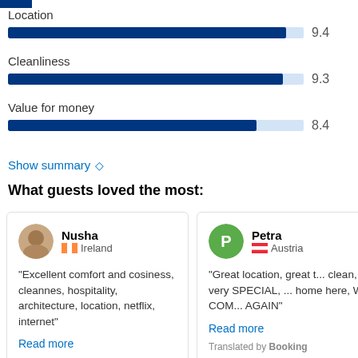[Figure (bar-chart): Ratings]
Show summary ◇
What guests loved the most:
Nusha
Ireland
"Excellent comfort and cosiness, cleannes, hospitality, architecture, location, netflix, internet"
Read more
Petra
Austria
"Great location, great t... clean, very SPECIAL, ... home here, WIR COM... AGAIN"
Read more
Translated by Booking